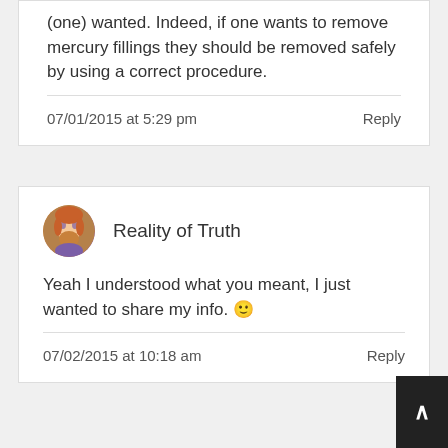(one) wanted. Indeed, if one wants to remove mercury fillings they should be removed safely by using a correct procedure.
07/01/2015 at 5:29 pm    Reply
Reality of Truth
Yeah I understood what you meant, I just wanted to share my info. 🙂
07/02/2015 at 10:18 am    Reply